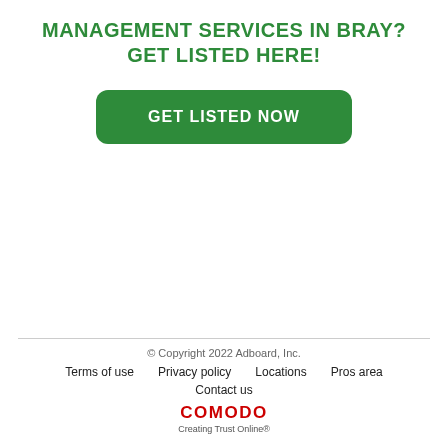MANAGEMENT SERVICES IN BRAY?
GET LISTED HERE!
[Figure (other): Green rounded button with white bold text 'GET LISTED NOW']
© Copyright 2022 Adboard, Inc.
Terms of use   Privacy policy   Locations   Pros area
Contact us
COMODO Creating Trust Online®